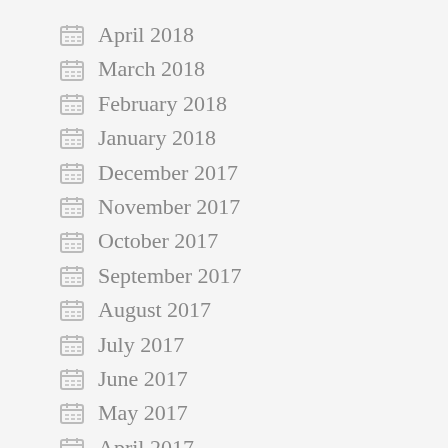April 2018
March 2018
February 2018
January 2018
December 2017
November 2017
October 2017
September 2017
August 2017
July 2017
June 2017
May 2017
April 2017
March 2017